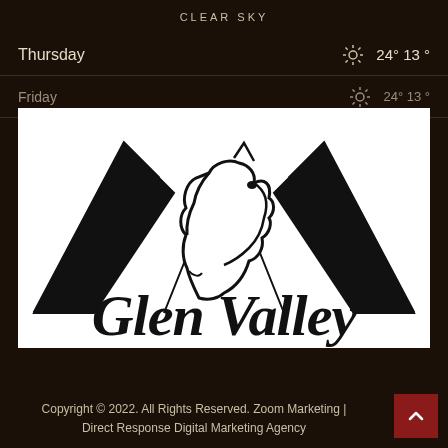CLEAR SKY
Thursday  24° 13°
Friday  24° 13°
[Figure (logo): Glen Valley Stables logo: black and white logo featuring two mountain peaks with a horse head silhouette in the center, and the text 'Glen Valley Stables' in large serif font below.]
Copyright © 2022. All Rights Reserved. Zoom Marketing | Direct Response Digital Marketing Agency